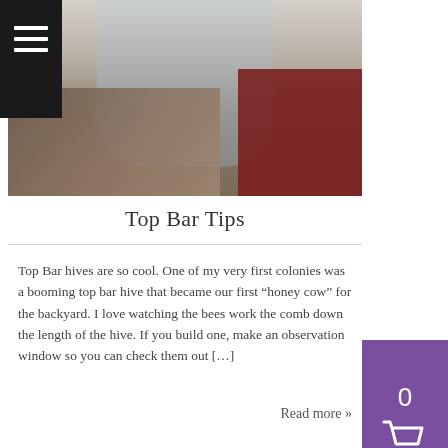[Figure (photo): A person in a grey long-sleeve shirt working with a top bar beehive in a workshop setting. Multiple wooden top bar hive frames are visible, along with a red wooden box in the background.]
Top Bar Tips
Top Bar hives are so cool. One of my very first colonies was a booming top bar hive that became our first “honey cow” for the backyard. I love watching the bees work the comb down the length of the hive. If you build one, make an observation window so you can check them out […]
Read more »